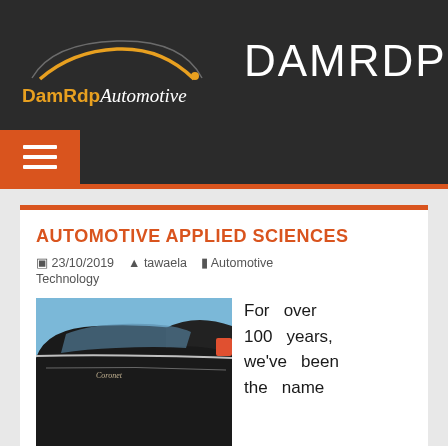DAMRDP — DamRdp Automotive
AUTOMOTIVE APPLIED SCIENCES
23/10/2019  tawaela  Automotive Technology
[Figure (photo): Close-up photo of a vintage classic car, showing the rear fin and tail light area, with a blue sky and sparse trees in the background.]
For over 100 years, we've been the name